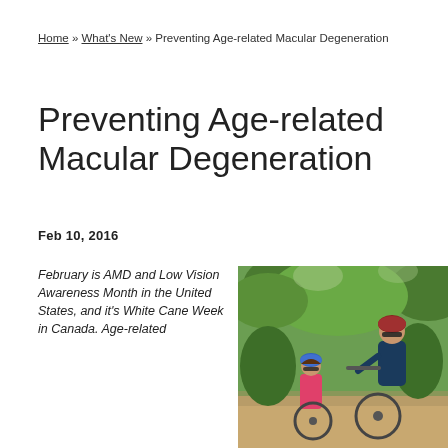Home » What's New » Preventing Age-related Macular Degeneration
Preventing Age-related Macular Degeneration
Feb 10, 2016
February is AMD and Low Vision Awareness Month in the United States, and it's White Cane Week in Canada. Age-related
[Figure (photo): A man and a child riding bikes on a wooded trail, both wearing helmets and sunglasses.]